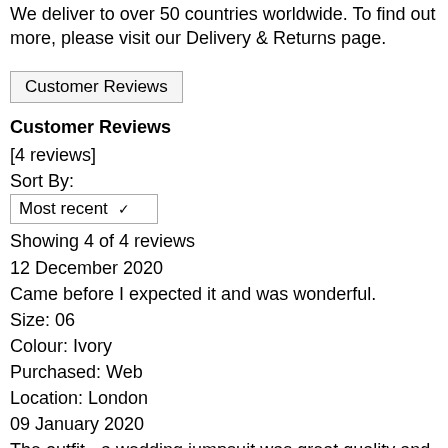We deliver to over 50 countries worldwide. To find out more, please visit our Delivery & Returns page.
Customer Reviews
Customer Reviews
[4 reviews]
Sort By:
Most recent
Showing 4 of 4 reviews
12 December 2020
Came before I expected it and was wonderful.
Size: 06
Colour: Ivory
Purchased: Web
Location: London
09 January 2020
The outfit - a wedding jumpsuit was great quality and looked classic but also rather cool. The lace fabric looked and felt gorgeous.
Colour: Ivory
Purchased: online
27 February 2019
Excellent